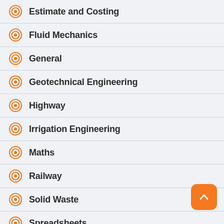Estimate and Costing
Fluid Mechanics
General
Geotechnical Engineering
Highway
Irrigation Engineering
Maths
Railway
Solid Waste
Spreadsheets
Survey